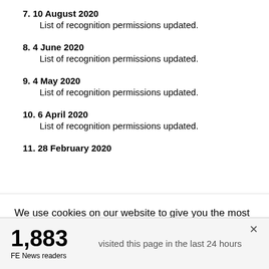7. 10 August 2020
    List of recognition permissions updated.
8. 4 June 2020
    List of recognition permissions updated.
9. 4 May 2020
    List of recognition permissions updated.
10. 6 April 2020
    List of recognition permissions updated.
11. 28 February 2020
We use cookies on our website to give you the most relevant experience by remembering your preferences and repeat visits. By clicking “Accept”, you consent to the use of ALL the cookies. However you may visit Cookie
1,883 visited this page in the last 24 hours
FE News readers